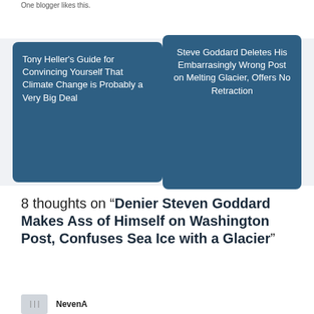One blogger likes this.
Tony Heller’s Guide for Convincing Yourself That Climate Change is Probably a Very Big Deal
Steve Goddard Deletes His Embarrasingly Wrong Post on Melting Glacier, Offers No Retraction
8 thoughts on “Denier Steven Goddard Makes Ass of Himself on Washington Post, Confuses Sea Ice with a Glacier”
NevenA